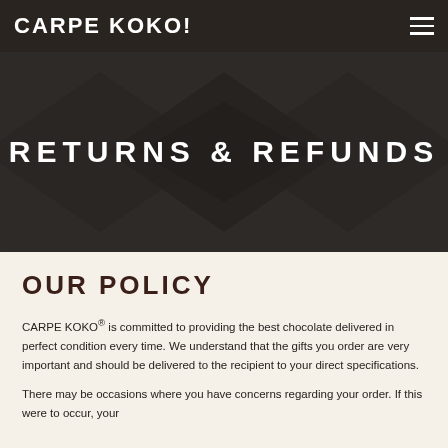CARPE KOKO!
RETURNS & REFUNDS
OUR POLICY
CARPE KOKO® is committed to providing the best chocolate delivered in perfect condition every time. We understand that the gifts you order are very important and should be delivered to the recipient to your direct specifications.
There may be occasions where you have concerns regarding your order. If this were to occur, your